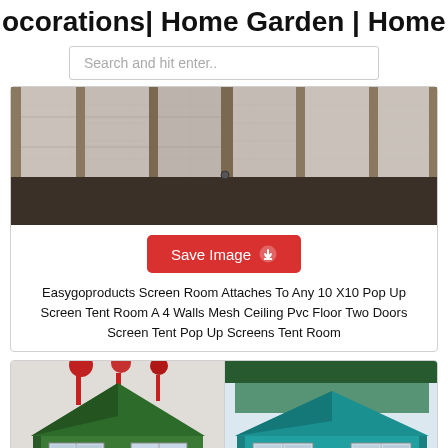ocorations| Home Garden | Home Fa
Search and hit enter..
[Figure (photo): Interior view of a screen room/tent with mesh walls, beige fabric frame, and transparent mesh ceiling panels]
Save Image
Easygoproducts Screen Room Attaches To Any 10 X10 Pop Up Screen Tent Room A 4 Walls Mesh Ceiling Pvc Floor Two Doors Screen Tent Pop Up Screens Tent Room
[Figure (photo): Two gazebo/canopy tents side by side - left one is dark green with window panels, right one is teal/blue with window panels, both with decorative red elements at top]